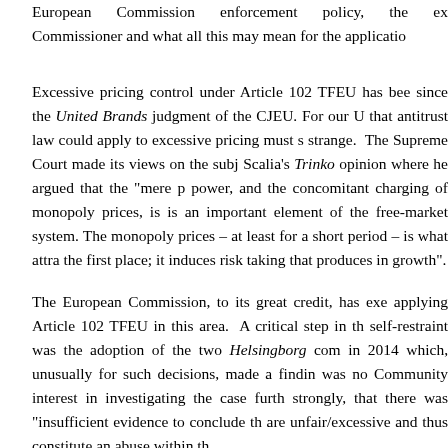European Commission enforcement policy, the Commissioner and what all this may mean for the application...
Excessive pricing control under Article 102 TFEU has been since the United Brands judgment of the CJEU. For our U that antitrust law could apply to excessive pricing must s strange. The Supreme Court made its views on the subj Scalia's Trinko opinion where he argued that the "mere p power, and the concomitant charging of monopoly prices, is is an important element of the free-market system. The monopoly prices – at least for a short period – is what attra the first place; it induces risk taking that produces in growth".
The European Commission, to its great credit, has exe applying Article 102 TFEU in this area. A critical step in th self-restraint was the adoption of the two Helsingborg comp in 2014 which, unusually for such decisions, made a findi was no Community interest in investigating the case furth strongly, that there was "insufficient evidence to conclude th are unfair/excessive and thus constitute an abuse within th